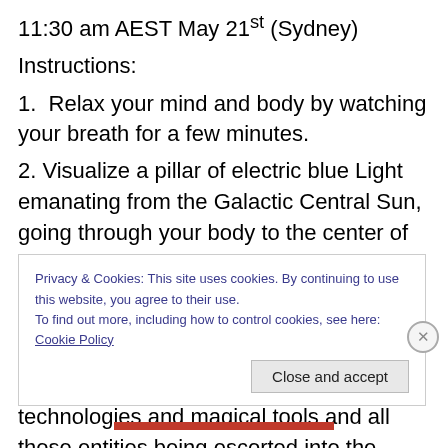11:30 am AEST May 21st (Sydney)
Instructions:
1.  Relax your mind and body by watching your breath for a few minutes.
2. Visualize a pillar of electric blue Light emanating from the Galactic Central Sun, going through your body to the center of the Earth. Keep this pillar of Light active for a few minutes. Then visualize all negative entities around the Earth being removed from etheric and astral planes along with all their negative spiritual technologies and magical tools and all those entities being escorted into the Light by
Privacy & Cookies: This site uses cookies. By continuing to use this website, you agree to their use.
To find out more, including how to control cookies, see here: Cookie Policy
Close and accept